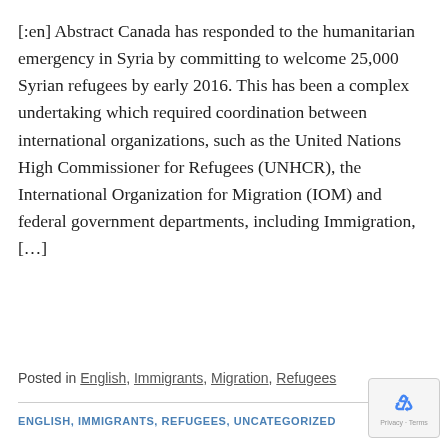[:en] Abstract Canada has responded to the humanitarian emergency in Syria by committing to welcome 25,000 Syrian refugees by early 2016. This has been a complex undertaking which required coordination between international organizations, such as the United Nations High Commissioner for Refugees (UNHCR), the International Organization for Migration (IOM) and federal government departments, including Immigration, […]
CONTINUE READING →
Posted in English, Immigrants, Migration, Refugees
ENGLISH, IMMIGRANTS, REFUGEES, UNCATEGORIZED